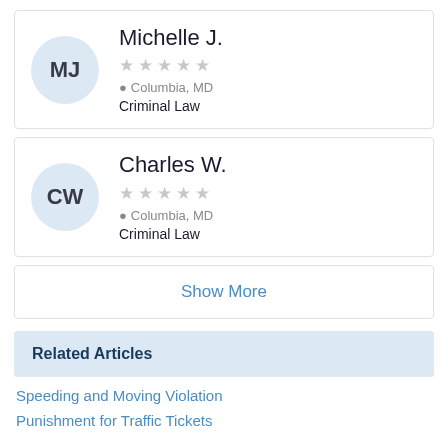[Figure (other): Lawyer profile card for Michelle J. with MJ avatar, 5 empty stars, location Columbia MD, practice Criminal Law]
[Figure (other): Lawyer profile card for Charles W. with CW avatar, 5 empty stars, location Columbia MD, practice Criminal Law]
Show More
Related Articles
Speeding and Moving Violation
Punishment for Traffic Tickets